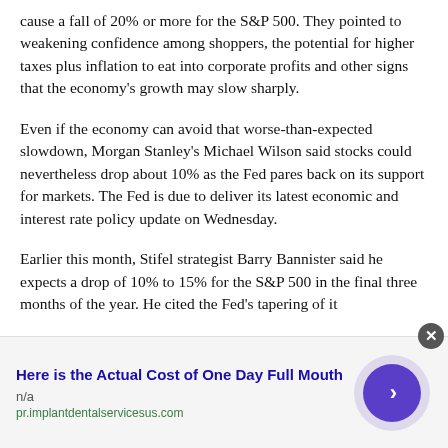cause a fall of 20% or more for the S&P 500. They pointed to weakening confidence among shoppers, the potential for higher taxes plus inflation to eat into corporate profits and other signs that the economy's growth may slow sharply.
Even if the economy can avoid that worse-than-expected slowdown, Morgan Stanley's Michael Wilson said stocks could nevertheless drop about 10% as the Fed pares back on its support for markets. The Fed is due to deliver its latest economic and interest rate policy update on Wednesday.
Earlier this month, Stifel strategist Barry Bannister said he expects a drop of 10% to 15% for the S&P 500 in the final three months of the year. He cited the Fed's tapering of it...
[Figure (infographic): Advertisement banner: 'Here is the Actual Cost of One Day Full Month' with n/a label, pr.implantdentalservicesus.com URL, and a purple arrow button on the right with a close X button.]